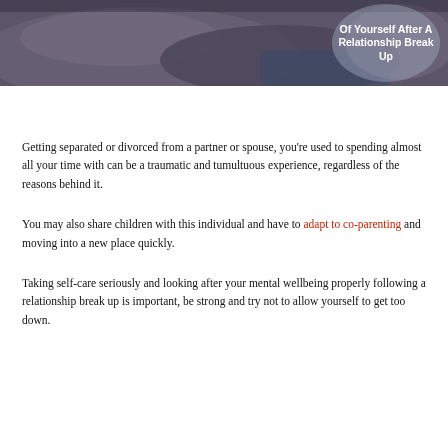[Figure (photo): Photo of a person sitting on a couch/sofa with cushions, viewed from above/side. A circular semi-transparent overlay in the upper right contains the text 'Of Yourself After A Relationship Break Up' in bold white text.]
Getting separated or divorced from a partner or spouse, you're used to spending almost all your time with can be a traumatic and tumultuous experience, regardless of the reasons behind it.
You may also share children with this individual and have to adapt to co-parenting and moving into a new place quickly.
Taking self-care seriously and looking after your mental wellbeing properly following a relationship break up is important, be strong and try not to allow yourself to get too down.